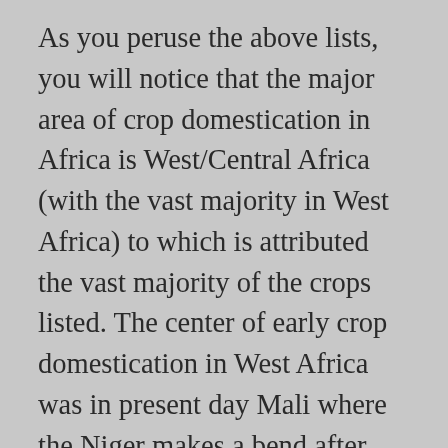As you peruse the above lists, you will notice that the major area of crop domestication in Africa is West/Central Africa (with the vast majority in West Africa) to which is attributed the vast majority of the crops listed. The center of early crop domestication in West Africa was in present day Mali where the Niger makes a bend after emanating from the highlands of Guinea. The annual inundation of the river formed an inland delta (an alluvia plane) which created ideal conditions for growing certain crops, similar to what happened in